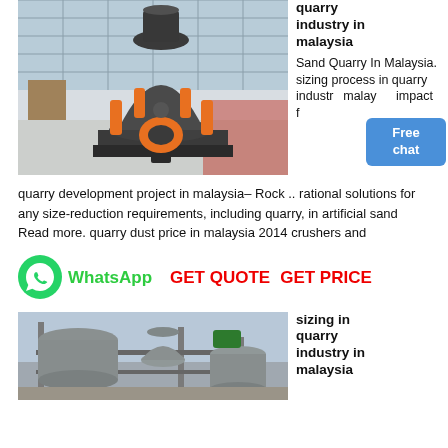[Figure (photo): Industrial cone crusher machine (gray and orange) in a large warehouse/factory setting]
quarry industry in malaysia
Sand Quarry In Malaysia. sizing process in quarry industry malaysia impact from
quarry development project in malaysia– Rock .. rational solutions for any size-reduction requirements, including quarry, in artificial sand Read more. quarry dust price in malaysia 2014 crushers and
[Figure (logo): WhatsApp green circle logo]
WhatsApp
GET QUOTE  GET PRICE
[Figure (photo): Industrial quarry processing equipment with tanks and scaffolding, outdoor industrial plant]
sizing in quarry industry in malaysia